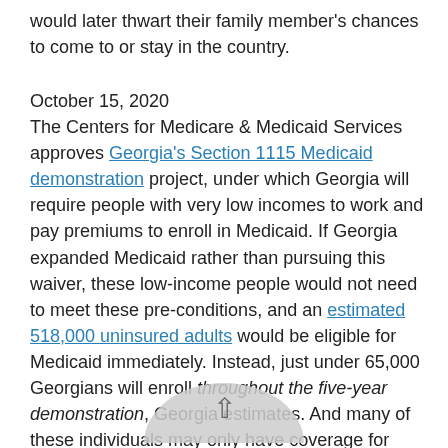would later thwart their family member's chances to come to or stay in the country.
October 15, 2020
The Centers for Medicare & Medicaid Services approves Georgia's Section 1115 Medicaid demonstration project, under which Georgia will require people with very low incomes to work and pay premiums to enroll in Medicaid. If Georgia expanded Medicaid rather than pursuing this waiver, these low-income people would not need to meet these pre-conditions, and an estimated 518,000 uninsured adults would be eligible for Medicaid immediately. Instead, just under 65,000 Georgians will enroll throughout the five-year demonstration, Georgia estimates. And many of these individuals may only have coverage for short periods, likely losing coverage due to the work requirement and premiums even if they manage to initially meet the conditions and enroll. Georgia is the second state to get permission to require work as a condition of coverage, following approval